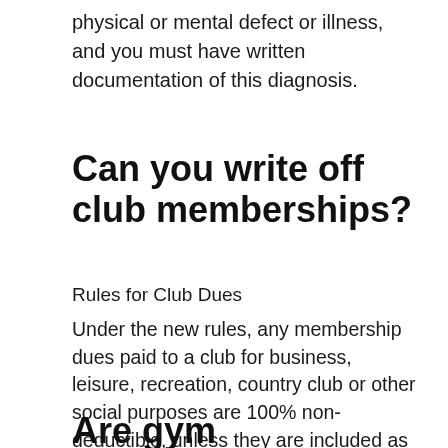physical or mental defect or illness, and you must have written documentation of this diagnosis.
Can you write off club memberships?
Rules for Club Dues
Under the new rules, any membership dues paid to a club for business, leisure, recreation, country club or other social purposes are 100% non-deductible, unless they are included as compensation on an employee's Form W-2.
Are gym memberships tax